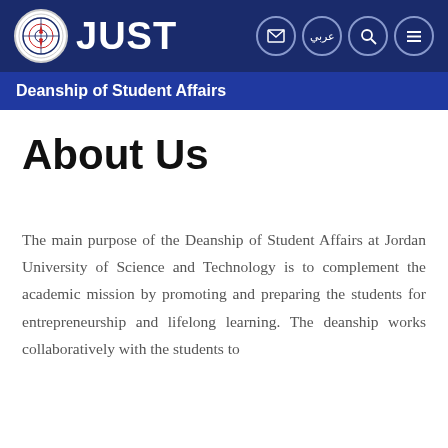[Figure (logo): JUST university logo with circular emblem on dark blue navigation bar with icons for email, Arabic, search, and menu]
Deanship of Student Affairs
About Us
The main purpose of the Deanship of Student Affairs at Jordan University of Science and Technology is to complement the academic mission by promoting and preparing the students for entrepreneurship and lifelong learning. The deanship works collaboratively with the students to